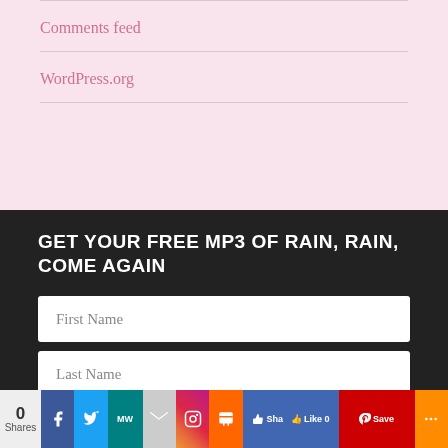Comments feed
WordPress.org
GET YOUR FREE MP3 OF RAIN, RAIN, COME AGAIN
First Name
Last Name
E-Mail Address
0 Shares | Facebook | Twitter | MeWe | Gmail | Instagram | Print | Facebook Share Like 0 | Pinterest Save | Share